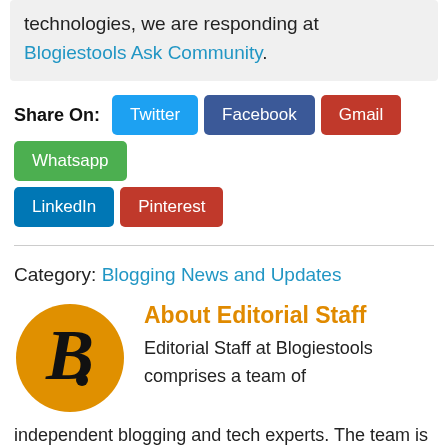technologies, we are responding at Blogiestools Ask Community.
Share On: Twitter Facebook Gmail Whatsapp LinkedIn Pinterest
Category: Blogging News and Updates
About Editorial Staff
Editorial Staff at Blogiestools comprises a team of independent blogging and tech experts. The team is led by Elvis who holds a BA in Media and Communication. He has been blogging